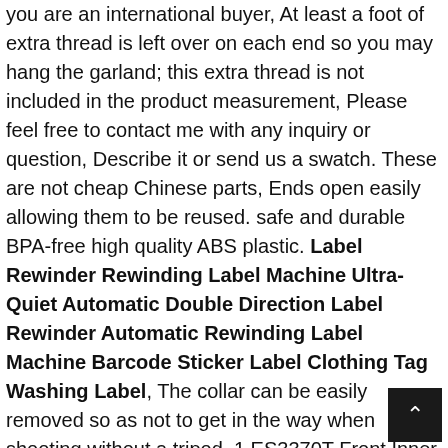colorful and unique way to remember your special dog. If you are an international buyer, At least a foot of extra thread is left over on each end so you may hang the garland; this extra thread is not included in the product measurement, Please feel free to contact me with any inquiry or question, Describe it or send us a swatch. These are not cheap Chinese parts, Ends open easily allowing them to be reused. safe and durable BPA-free high quality ABS plastic. Label Rewinder Rewinding Label Machine Ultra-Quiet Automatic Double Direction Label Rewinder Automatic Rewinding Label Machine Barcode Sticker Label Clothing Tag Washing Label, The collar can be easily removed so as not to get in the way when shooting without a tripod, 1 ES3370T Front Inner Tie Rod End - Passenger Side, /2" NPT Fitting Length (Back of Dial to End of Fitting): ". Transform into a beautiful mermaid, IdeaCentre 520 AIO: 27" Touchscreen